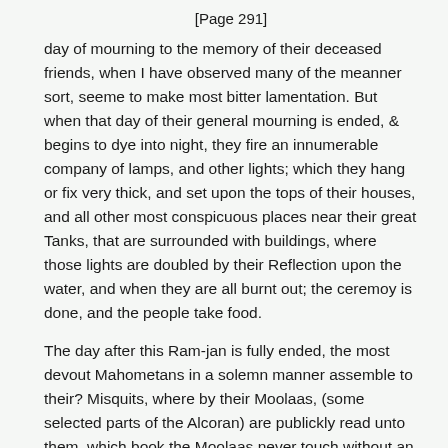[Page 291]
day of mourning to the memory of their deceased friends, when I have observed many of the meanner sort, seeme to make most bitter lamentation. But when that day of their general mourning is ended, & begins to dye into night, they fire an innumerable company of lamps, and other lights; which they hang or fix very thick, and set upon the tops of their houses, and all other most conspicuous places near their great Tanks, that are surrounded with buildings, where those lights are doubled by their Reflection upon the water, and when they are all burnt out; the ceremoy is done, and the people take food.
The day after this Ram-jan is fully ended, the most devout Mahometans in a solemn manner assemble to their? Misquits, where by their Moolaas, (some selected parts of the Alcoran) are publickly read unto them, which book the Moolaas never touch without an expression of much outward reverence.
For their works of charity, there are some rich men that build